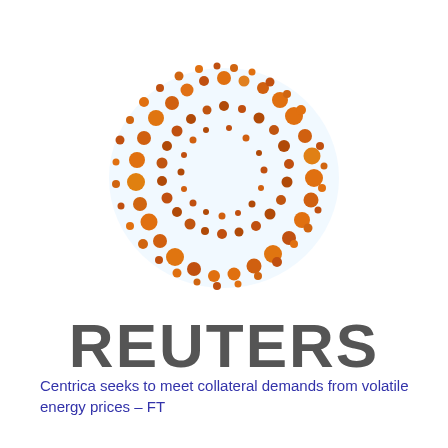[Figure (logo): Reuters logo: circular arrangement of orange and dark dots/circles forming a donut/globe shape, the Reuters brand emblem]
REUTERS
Centrica seeks to meet collateral demands from volatile energy prices – FT